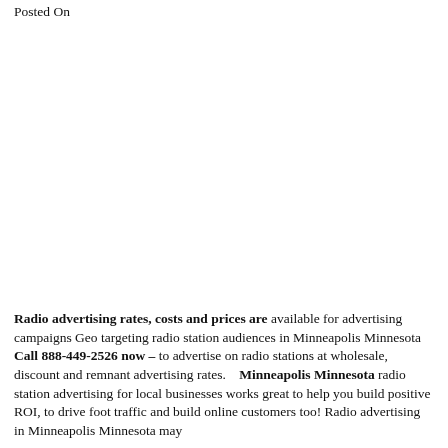Posted On
Radio advertising rates, costs and prices are available for advertising campaigns Geo targeting radio station audiences in Minneapolis Minnesota Call 888-449-2526 now – to advertise on radio stations at wholesale, discount and remnant advertising rates.    Minneapolis Minnesota radio station advertising for local businesses works great to help you build positive ROI, to drive foot traffic and build online customers too! Radio advertising in Minneapolis Minnesota may